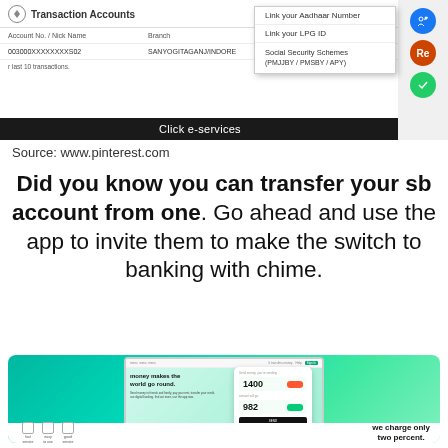[Figure (screenshot): Screenshot of a banking app showing Transaction Accounts table with account number 003000XXXXXXXXS02, branch SANYOGITAGANJ/INDORE, and a dropdown menu with options: Link your Aadhaar Number, Link your LPG ID, Social Security Schemes (PMJJBY / PMSBY / APY). Social media share icons on the right. Bottom bar reads 'Click e-services'.]
Source: www.pinterest.com
Did you know you can transfer your sb account from one. Go ahead and use the app to invite them to make the switch to banking with chime.
[Figure (screenshot): Screenshot of a Chime banking website on a laptop showing 'money makes the world go round.' with a transfer interface showing amounts 1400 and 982 with a Send button, and bottom icons for fast service, easy to use, and good service, plus the text 'we charge only two percent.']